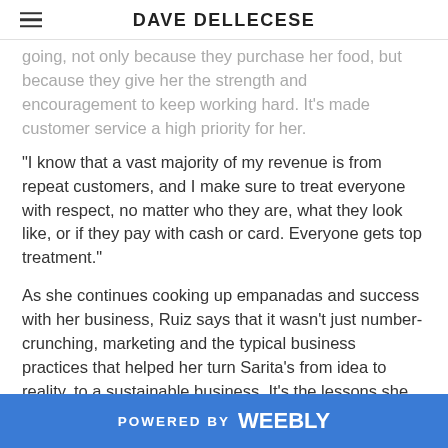DAVE DELLECESE
going, not only because they purchase her food, but because they give her the strength and encouragement to keep working hard. It's made customer service a high priority for her.
“I know that a vast majority of my revenue is from repeat customers, and I make sure to treat everyone with respect, no matter who they are, what they look like, or if they pay with cash or card. Everyone gets top treatment.”
As she continues cooking up empanadas and success with her business, Ruiz says that it wasn’t just number-crunching, marketing and the typical business practices that helped her turn Sarita's from idea to reality, to a sustainable business. It’s the lessons she learned to never give up.
POWERED BY weebly